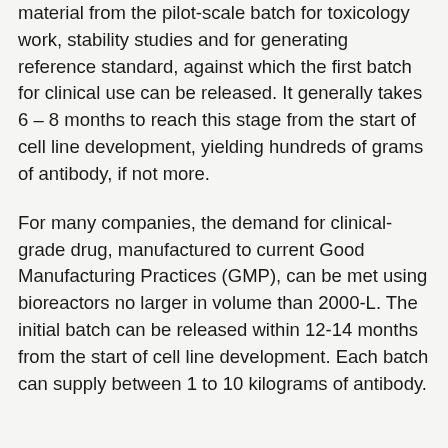material from the pilot-scale batch for toxicology work, stability studies and for generating reference standard, against which the first batch for clinical use can be released. It generally takes 6 – 8 months to reach this stage from the start of cell line development, yielding hundreds of grams of antibody, if not more.
For many companies, the demand for clinical-grade drug, manufactured to current Good Manufacturing Practices (GMP), can be met using bioreactors no larger in volume than 2000-L. The initial batch can be released within 12-14 months from the start of cell line development. Each batch can supply between 1 to 10 kilograms of antibody.